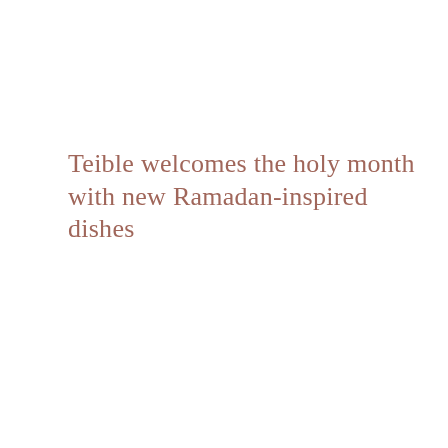Teible welcomes the holy month with new Ramadan-inspired dishes